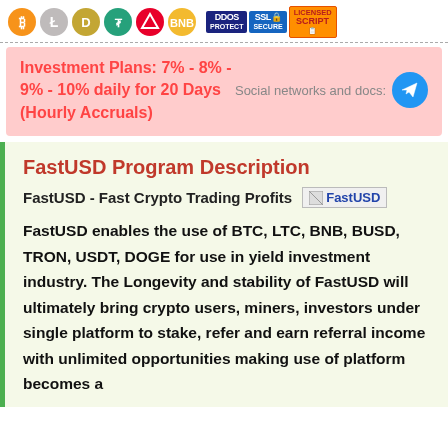[Figure (infographic): Cryptocurrency logos row: Bitcoin (BTC), Litecoin (LTC), Dogecoin (DOGE), Tether (USDT), TRON, Binance, plus DDOS Protect, SSL Secure, Licensed Script badges]
Investment Plans: 7% - 8% - 9% - 10% daily for 20 Days (Hourly Accruals)   Social networks and docs: [Telegram icon]
FastUSD Program Description
FastUSD - Fast Crypto Trading Profits
FastUSD enables the use of BTC, LTC, BNB, BUSD, TRON, USDT, DOGE for use in yield investment industry. The Longevity and stability of FastUSD will ultimately bring crypto users, miners, investors under single platform to stake, refer and earn referral income with unlimited opportunities making use of platform becomes a